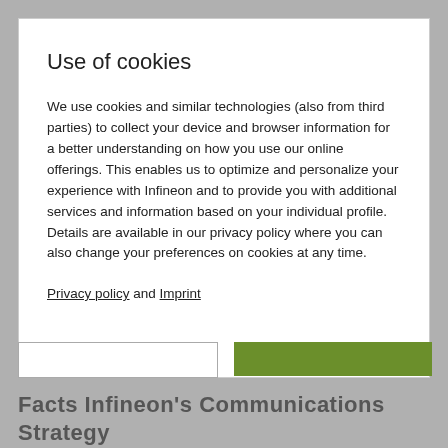Use of cookies
We use cookies and similar technologies (also from third parties) to collect your device and browser information for a better understanding on how you use our online offerings. This enables us to optimize and personalize your experience with Infineon and to provide you with additional services and information based on your individual profile. Details are available in our privacy policy where you can also change your preferences on cookies at any time.
Privacy policy and Imprint
Facts Infineon's Communications Strategy